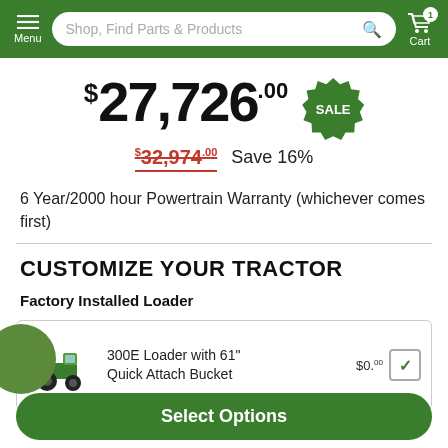Menu | Shop, Find Parts & Products | Cart 1
$27,726.00 SALE
$32,974.00 Save 16%
6 Year/2000 hour Powertrain Warranty (whichever comes first)
CUSTOMIZE YOUR TRACTOR
Factory Installed Loader
300E Loader with 61" Quick Attach Bucket  $0.00
Select Options